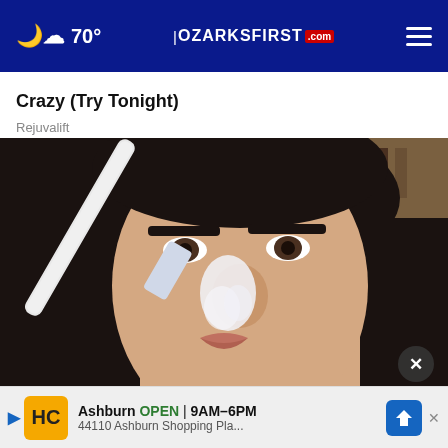☁ 70° | OZARKSFIRST .com ≡
Crazy (Try Tonight)
Rejuvalift
[Figure (photo): Woman applying white cream to her nose with a brush/applicator, close-up selfie style photo]
Ren
This
Ashburn OPEN 9AM–6PM 44110 Ashburn Shopping Pla...